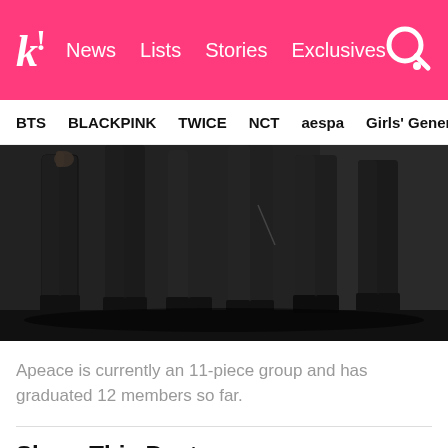k! News  Lists  Stories  Exclusives
BTS  BLACKPINK  TWICE  NCT  aespa  Girls' Generation
[Figure (photo): Lower bodies of multiple people wearing all-black outfits including skinny jeans and boots, standing in a group against a dark wall background]
Apeace is currently an 11-piece group and has graduated 12 members so far.
Share This Post